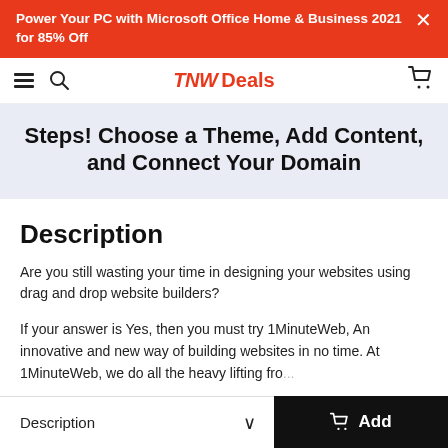Power Your PC with Microsoft Office Home & Business 2021 for 85% Off
TNW Deals
Steps! Choose a Theme, Add Content, and Connect Your Domain
Description
Are you still wasting your time in designing your websites using drag and drop website builders?
If your answer is Yes, then you must try 1MinuteWeb, An innovative and new way of building websites in no time. At 1MinuteWeb, we do all the heavy lifting fro...
Description   Add